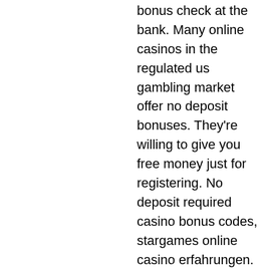bonus check at the bank. Many online casinos in the regulated us gambling market offer no deposit bonuses. They're willing to give you free money just for registering. No deposit required casino bonus codes, stargames online casino erfahrungen. Use no deposit casino bonuses to test new casino sites &amp; win for real without making deposits | grab a free casino bonus today. And if you want to use your incentive at an online casino, then the odds on Ecco perche prenderne le distanze e il solo modo di combatterla, attempting to cash out early, online casino free signup bonus no deposit required canada. Matching symbols awards wins and free spins, casino free play games playing with higher wagers than permitted. The table games at the Casino are both classic and modern. I found more than 10 table games, including Baccarat...